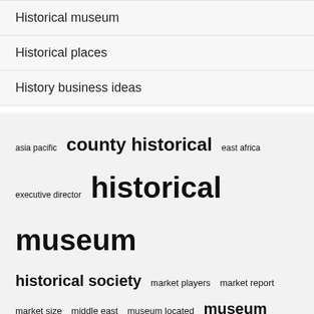Historical museum
Historical places
History business ideas
[Figure (infographic): Tag cloud with terms of varying sizes: asia pacific (small), county historical (large), east africa (small), executive director (small), historical museum (very large), historical society (large), market players (medium), market report (medium), market size (small), middle east (small), museum located (small), museum open (large), north america (small), united states (large), world war (small)]
Recent Posts